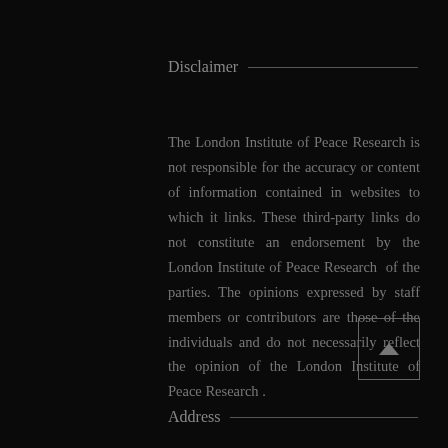Disclaimer
The London Institute of Peace Research is not responsible for the accuracy or content of information contained in websites to which it links. These third-party links do not constitute an endorsement by the London Institute of Peace Research of the parties. The opinions expressed by staff members or contributors are those of the individuals and do not necessarily reflect the opinion of the London Institute of Peace Research .
Address